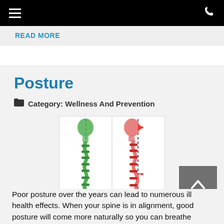≡  ☎
READ MORE
Posture
Category: Wellness And Prevention
[Figure (illustration): Two side-by-side anatomical illustrations of human spines showing correct posture (green skeleton, aligned dashed vertical line) versus poor posture (red/orange skeleton, forward head position with arrows indicating misalignment).]
Poor posture over the years can lead to numerous ill health effects. When your spine is in alignment, good posture will come more naturally so you can breathe better, feel younger and avoid many aches and pains.